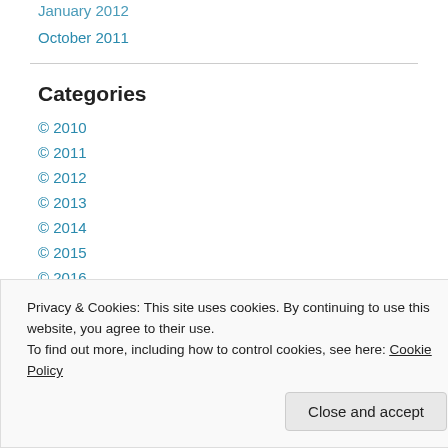January 2012
October 2011
Categories
© 2010
© 2011
© 2012
© 2013
© 2014
© 2015
© 2016
© 2017
Privacy & Cookies: This site uses cookies. By continuing to use this website, you agree to their use. To find out more, including how to control cookies, see here: Cookie Policy
Close and accept